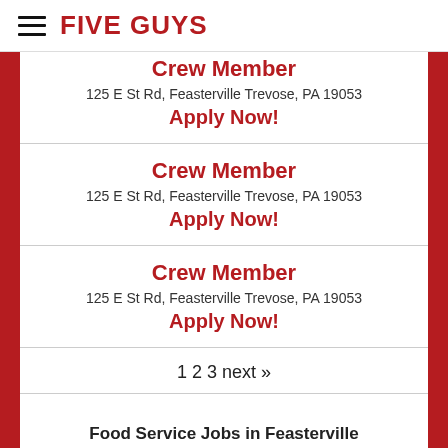FIVE GUYS
Crew Member
125 E St Rd, Feasterville Trevose, PA 19053
Apply Now!
Crew Member
125 E St Rd, Feasterville Trevose, PA 19053
Apply Now!
Crew Member
125 E St Rd, Feasterville Trevose, PA 19053
Apply Now!
1 2 3 next »
Food Service Jobs in Feasterville